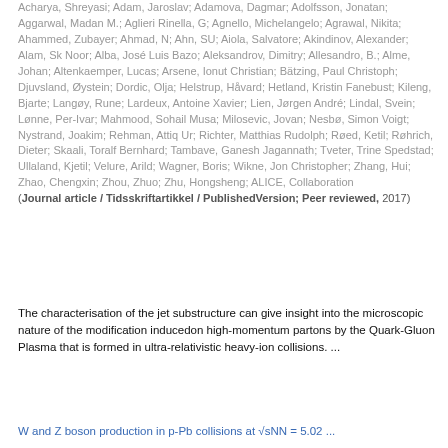Acharya, Shreyasi; Adam, Jaroslav; Adamova, Dagmar; Adolfsson, Jonatan; Aggarwal, Madan M.; Aglieri Rinella, G; Agnello, Michelangelo; Agrawal, Nikita; Ahammed, Zubayer; Ahmad, N; Ahn, SU; Aiola, Salvatore; Akindinov, Alexander; Alam, Sk Noor; Alba, José Luis Bazo; Aleksandrov, Dimitry; Allesandro, B.; Alme, Johan; Altenkaemper, Lucas; Arsene, Ionut Christian; Bätzing, Paul Christoph; Djuvsland, Øystein; Dordic, Olja; Helstrup, Håvard; Hetland, Kristin Fanebust; Kileng, Bjarte; Langøy, Rune; Lardeux, Antoine Xavier; Lien, Jørgen André; Lindal, Svein; Lønne, Per-Ivar; Mahmood, Sohail Musa; Milosevic, Jovan; Nesbø, Simon Voigt; Nystrand, Joakim; Rehman, Attiq Ur; Richter, Matthias Rudolph; Røed, Ketil; Røhrich, Dieter; Skaali, Toralf Bernhard; Tambave, Ganesh Jagannath; Tveter, Trine Spedstad; Ullaland, Kjetil; Velure, Arild; Wagner, Boris; Wikne, Jon Christopher; Zhang, Hui; Zhao, Chengxin; Zhou, Zhuo; Zhu, Hongsheng; ALICE, Collaboration (Journal article / Tidsskriftartikkel / PublishedVersion; Peer reviewed, 2017)
The characterisation of the jet substructure can give insight into the microscopic nature of the modification inducedon high-momentum partons by the Quark-Gluon Plasma that is formed in ultra-relativistic heavy-ion collisions. ...
W and Z boson production in p-Pb collisions at √sNN = 5.02 ...